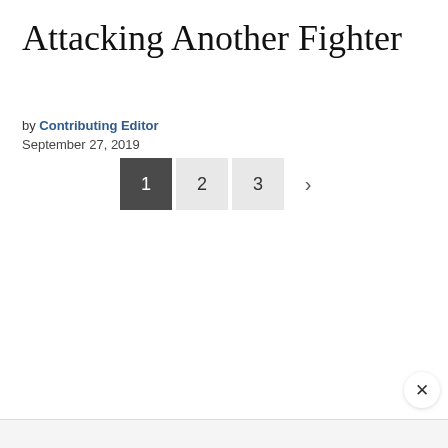Attacking Another Fighter
by Contributing Editor
September 27, 2019
[Figure (other): Pagination controls showing page buttons 1 (active/dark), 2 (light gray), 3 (light gray), and a next arrow chevron (>)]
[Figure (other): Close button (x) in bottom-right corner, circular white button with x mark]